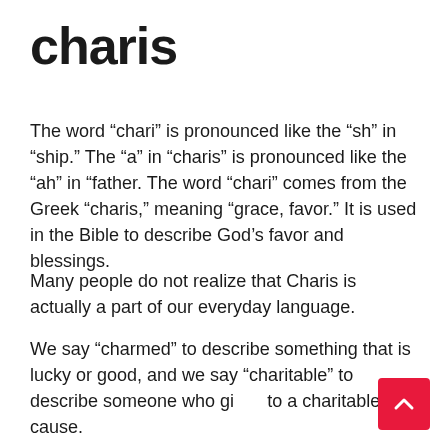charis
The word “chari” is pronounced like the “sh” in “ship.” The “a” in “charis” is pronounced like the “ah” in “father. The word “chari” comes from the Greek “charis,” meaning “grace, favor.” It is used in the Bible to describe God’s favor and blessings.
Many people do not realize that Charis is actually a part of our everyday language.
We say “charmed” to describe something that is lucky or good, and we say “charitable” to describe someone who gives to a charitable cause.